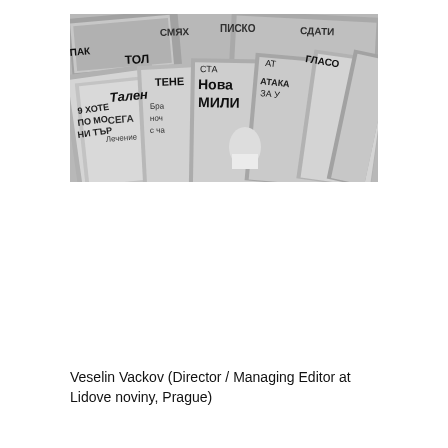[Figure (photo): Black and white photograph of a newspaper stand with many Bulgarian-language newspapers and tabloids spread out in rows, showing various headlines in Cyrillic script including words like Нова, Лечение, СЕГА, Тален, and others.]
Veselin Vackov (Director / Managing Editor at Lidove noviny, Prague)